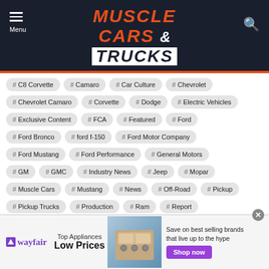[Figure (logo): Muscle Cars & Trucks website header logo on dark navy background with hamburger menu and search icon]
# C8 Corvette
# Camaro
# Car Culture
# Chevrolet
# Chevrolet Camaro
# Corvette
# Dodge
# Electric Vehicles
# Exclusive Content
# FCA
# Featured
# Ford
# Ford Bronco
# ford f-150
# Ford Motor Company
# Ford Mustang
# Ford Performance
# General Motors
# GM
# GMC
# Industry News
# Jeep
# Mopar
# Muscle Cars
# Mustang
# News
# Off-Road
# Pickup
# Pickup Trucks
# Production
# Ram
# Report
# SEMA Show
# Sports Cars
# Stellantis
# Supercars
[Figure (infographic): Wayfair advertisement banner: Top Appliances Low Prices with stove image, Save on best selling brands that live up to the hype, Shop now button]